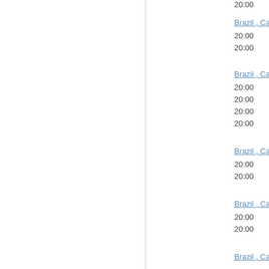20:00
Brazil , Campe...
20:00
20:00
Brazil , Campe...
20:00
20:00
20:00
20:00
Brazil , Campe...
20:00
20:00
Brazil , Campe...
20:00
20:00
Brazil , Campe...